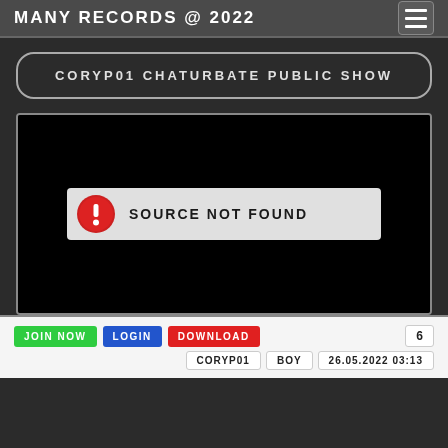MANY RECORDS @ 2022
CORYP01 CHATURBATE PUBLIC SHOW
[Figure (screenshot): Video player showing black screen with SOURCE NOT FOUND error banner containing red exclamation icon]
JOIN NOW | LOGIN | DOWNLOAD | 6
CORYP01 | BOY | 26.05.2022 03:13